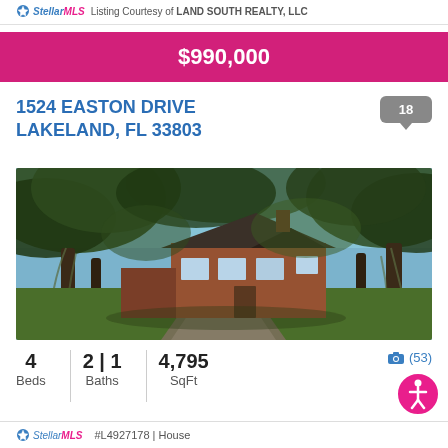Listing Courtesy of LAND SOUTH REALTY, LLC
$990,000
1524 EASTON DRIVE LAKELAND, FL 33803
[Figure (photo): Exterior photo of a brick house at 1524 Easton Drive, Lakeland FL, surrounded by large oak trees with spanish moss, with a long driveway approach. Badge showing 18 photos.]
4 Beds | 2 | 1 Baths | 4,795 SqFt | (53) photos
#L4927178 | House